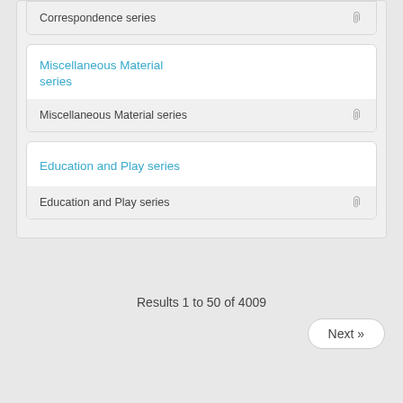Correspondence series
Miscellaneous Material series
Education and Play series
Results 1 to 50 of 4009
Next »